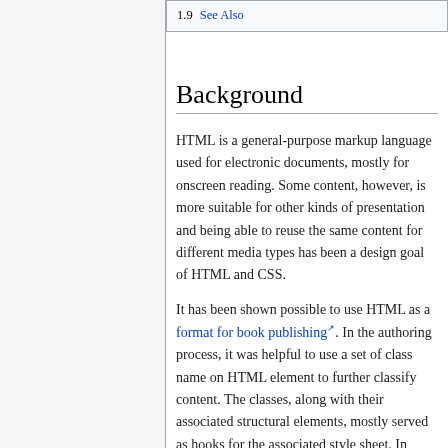1.9  See Also
Background
HTML is a general-purpose markup language used for electronic documents, mostly for onscreen reading. Some content, however, is more suitable for other kinds of presentation and being able to reuse the same content for different media types has been a design goal of HTML and CSS.
It has been shown possible to use HTML as a format for book publishing. In the authoring process, it was helpful to use a set of class name on HTML element to further classify content. The classes, along with their associated structural elements, mostly served as hooks for the associated style sheet. In particular, the